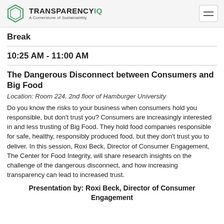TRANSPARENCYIQ A Cornerstone of Sustainability
Break
10:25 AM - 11:00 AM
The Dangerous Disconnect between Consumers and Big Food
Location: Room 224, 2nd floor of Hamburger University
Do you know the risks to your business when consumers hold you responsible, but don't trust you? Consumers are increasingly interested in and less trusting of Big Food. They hold food companies responsible for safe, healthy, responsibly produced food, but they don't trust you to deliver. In this session, Roxi Beck, Director of Consumer Engagement, The Center for Food Integrity, will share research insights on the challenge of the dangerous disconnect, and how increasing transparency can lead to increased trust.
Presentation by: Roxi Beck, Director of Consumer Engagement